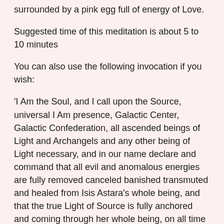surrounded by a pink egg full of energy of Love.
Suggested time of this meditation is about 5 to 10 minutes
You can also use the following invocation if you wish:
'I Am the Soul, and I call upon the Source, universal I Am presence, Galactic Center, Galactic Confederation, all ascended beings of Light and Archangels and any other being of Light necessary, and in our name declare and command that all evil and anomalous energies are fully removed canceled banished transmuted and healed from Isis Astara's whole being, and that the true Light of Source is fully anchored and coming through her whole being, on all time space dimensions and planes and in full totality, as guided by the Source. This is our Will and the Will of Source and therefore it is law, and so it is and so it is and so it is'
Or visualize a vortex of rainbow Light around her